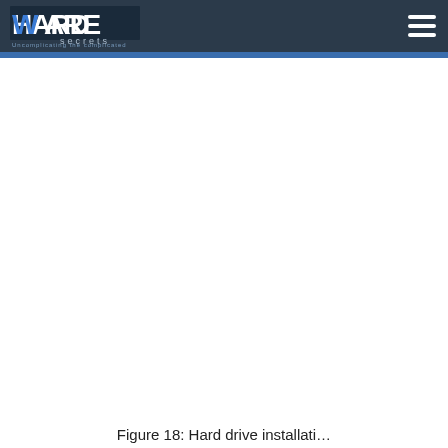Hardware Secrets — Uncomplicating the complicated
[Figure (photo): Large blank/white content area where a hard drive installation photo would appear, below the Hardware Secrets navigation header.]
Figure 18: Hard drive installati…